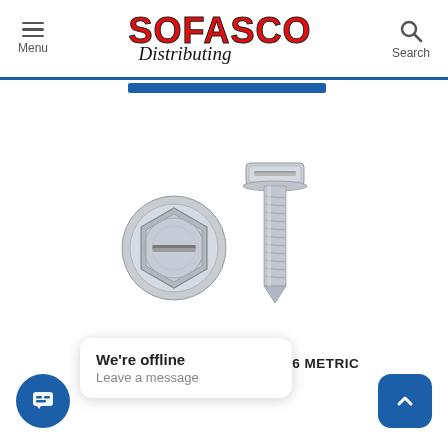Sofasco Distributing — Menu | Search
[Figure (photo): Two zinc-plated hex washer head license plate screws shown from top and side views]
LICENSE PLATE SCREWS - M6 METRIC
We're offline
Leave a message